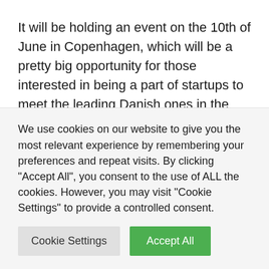It will be holding an event on the 10th of June in Copenhagen, which will be a pretty big opportunity for those interested in being a part of startups to meet the leading Danish ones in the category. These include Planely, Shape, Sortedam to name a few.
The event is more like a talent hunt program. You can be one looking for a chance to work with a startup and register yourself. At the same time, if you own a startup you can let
We use cookies on our website to give you the most relevant experience by remembering your preferences and repeat visits. By clicking "Accept All", you consent to the use of ALL the cookies. However, you may visit "Cookie Settings" to provide a controlled consent.